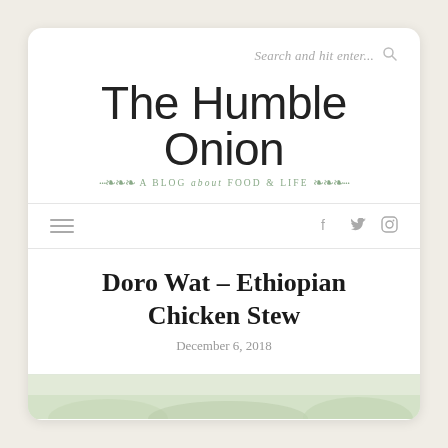Search and hit enter...
The Humble Onion
A BLOG about FOOD & LIFE
Doro Wat – Ethiopian Chicken Stew
December 6, 2018
[Figure (photo): Bottom strip showing food/ingredients photo preview]